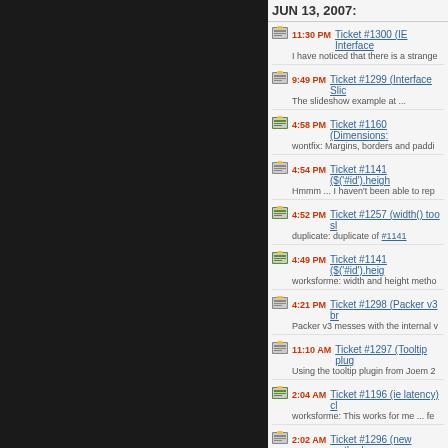JUN 13, 2007:
11:30 PM Ticket #1300 (IE Interface... - I have noticed that there is a strange
9:49 PM Ticket #1299 (Interface Slic... - The slideshow example at ...
4:58 PM Ticket #1160 (Dimensions:... - wontfix: Margins, borders and paddi
4:54 PM Ticket #1141 ($('#id').heigh... - Hmmm ... I haven't been able to rep
4:52 PM Ticket #1257 (width() too sl... - duplicate: duplicate of #1141
4:49 PM Ticket #1141 ($('#id').heig... - worksforme: width and height metho
4:21 PM Ticket #1298 (Packer v3 br... - Packer v3 messes with the internal
11:10 AM Ticket #1297 (Tooltip plug... - Using the tooltip plugin from Joem 2
2:04 AM Ticket #1196 (ie latency) cl... - worksforme: This works for me ... fe
2:02 AM Ticket #1296 (new method ... - <div> <span></span> <span></spa
2:01 AM Ticket #1266 ($(object).sho... - fixed: This is fixed in 1.1.3a (latest S
2:00 AM Ticket #1194 (JQuery.js an... - fixed: I believe this is resolved with t
1:52 AM Ticket #1269 (JQuery .css(... - worksforme: It might be a copy and